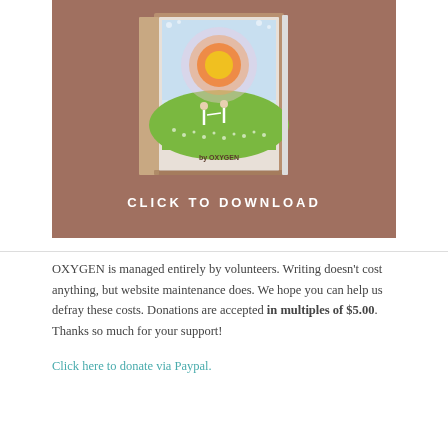[Figure (illustration): Book cover promotional banner with brown/mauve background showing an illustrated book cover with two figures on a green hillside under a glowing orange and yellow sun, with the text 'by OXYGEN' on the cover, and 'CLICK TO DOWNLOAD' in white capital letters below the book.]
OXYGEN is managed entirely by volunteers. Writing doesn't cost anything, but website maintenance does. We hope you can help us defray these costs. Donations are accepted in multiples of $5.00. Thanks so much for your support!
Click here to donate via Paypal.